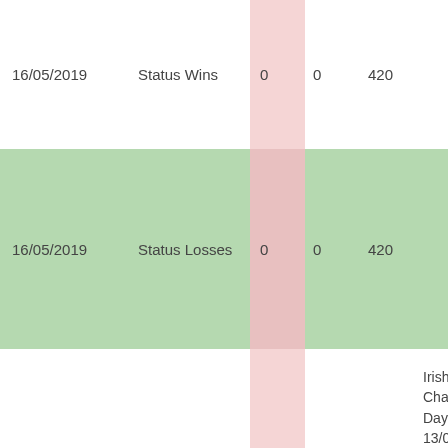| Date | Type | Col3 | Col4 | Col5 | Notes |
| --- | --- | --- | --- | --- | --- |
| 16/05/2019 | Status Wins | 0 | 0 | 420 |  |
| 16/05/2019 | Status Losses | 0 | 0 | 420 |  |
| 26/07/2018 | Status Losses | -20 | -20 | 420 | Irish Rowing Championships - 3 Days @ 13/07/2018, pos:Competed, 4X-, mens senior 4X- |